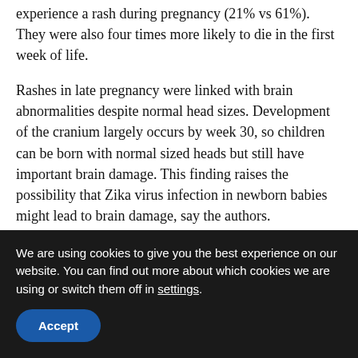experience a rash during pregnancy (21% vs 61%). They were also four times more likely to die in the first week of life.
Rashes in late pregnancy were linked with brain abnormalities despite normal head sizes. Development of the cranium largely occurs by week 30, so children can be born with normal sized heads but still have important brain damage. This finding raises the possibility that Zika virus infection in newborn babies might lead to brain damage, say the authors.
Importantly, over 100 of the definite or
We are using cookies to give you the best experience on our website. You can find out more about which cookies we are using or switch them off in settings.